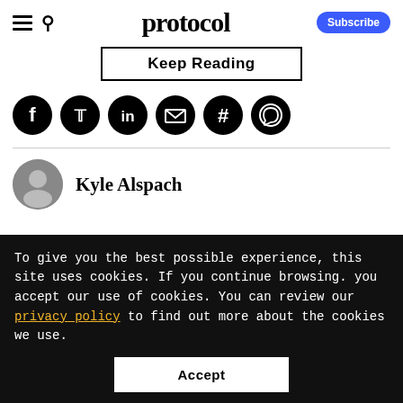protocol
Keep Reading
[Figure (other): Social share icons: Facebook, Twitter, LinkedIn, Email, Hashtag, WhatsApp]
Kyle Alspach
To give you the best possible experience, this site uses cookies. If you continue browsing. you accept our use of cookies. You can review our privacy policy to find out more about the cookies we use.
Accept